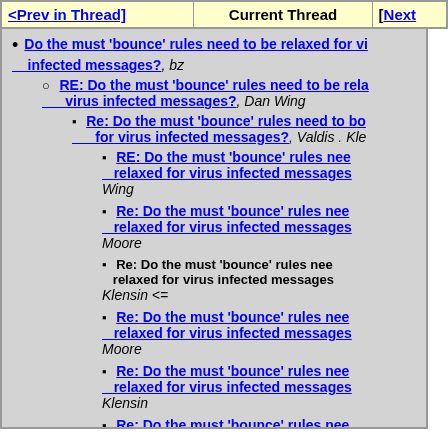[<Prev in Thread]   Current Thread   [Next
Do the must 'bounce' rules need to be relaxed for virus infected messages?, bz
RE: Do the must 'bounce' rules need to be relaxed for virus infected messages?, Dan Wing
Re: Do the must 'bounce' rules need to be relaxed for virus infected messages?, Valdis . Kle
RE: Do the must 'bounce' rules need to be relaxed for virus infected messages?, Wing
Re: Do the must 'bounce' rules need to be relaxed for virus infected messages?, Moore
Re: Do the must 'bounce' rules need to be relaxed for virus infected messages?, Klensin <=
Re: Do the must 'bounce' rules need to be relaxed for virus infected messages?, Moore
Re: Do the must 'bounce' rules need to be relaxed for virus infected messages?, Klensin
Re: Do the must 'bounce' rules need to be relaxed for virus infected messages?, crispin